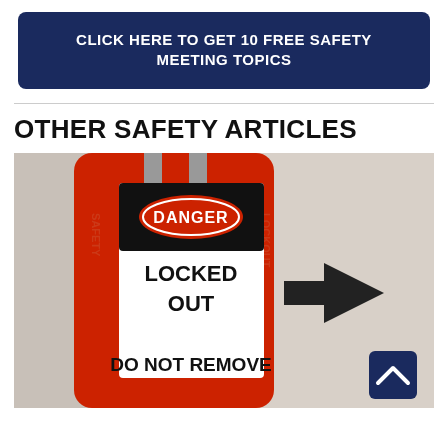CLICK HERE TO GET 10 FREE SAFETY MEETING TOPICS
OTHER SAFETY ARTICLES
[Figure (photo): Close-up photo of a red safety padlock with a white label showing 'DANGER' in a red oval, 'LOCKED OUT' in bold black text, and 'DO NOT REMOVE' at the bottom. The lock has 'SAFETY' and 'LOCKOUT' text embossed on its sides. A black arrow pointing right is visible in the background. A dark blue back-to-top button with a white chevron is overlaid in the bottom-right corner.]